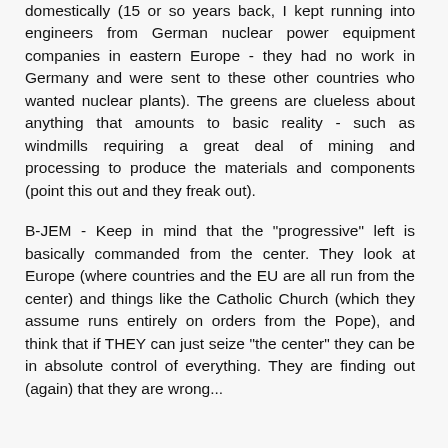domestically (15 or so years back, I kept running into engineers from German nuclear power equipment companies in eastern Europe - they had no work in Germany and were sent to these other countries who wanted nuclear plants). The greens are clueless about anything that amounts to basic reality - such as windmills requiring a great deal of mining and processing to produce the materials and components (point this out and they freak out).
B-JEM - Keep in mind that the "progressive" left is basically commanded from the center. They look at Europe (where countries and the EU are all run from the center) and things like the Catholic Church (which they assume runs entirely on orders from the Pope), and think that if THEY can just seize "the center" they can be in absolute control of everything. They are finding out (again) that they are wrong...